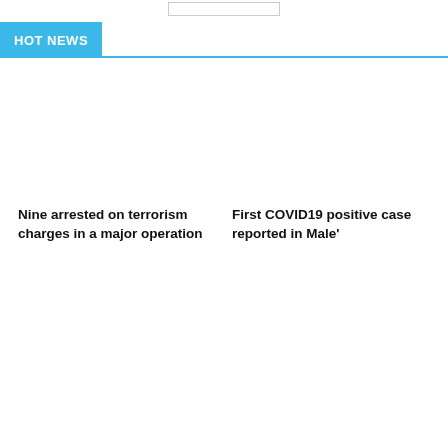HOT NEWS
Nine arrested on terrorism charges in a major operation
First COVID19 positive case reported in Male'